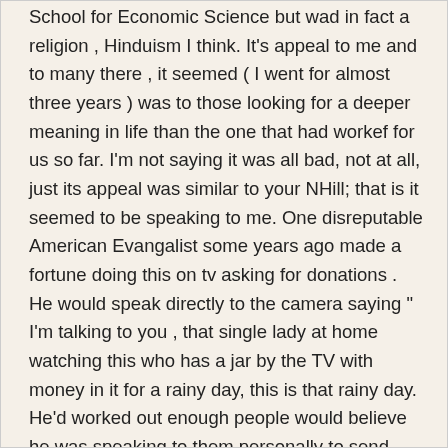School for Economic Science but wad in fact a religion , Hinduism I think. It's appeal to me and to many there , it seemed ( I went for almost three years ) was to those looking for a deeper meaning in life than the one that had workef for us so far. I'm not saying it was all bad, not at all, just its appeal was similar to your NHill; that is it seemed to be speaking to me. One disreputable American Evangalist some years ago made a fortune doing this on tv asking for donations . He would speak directly to the camera saying " I'm talking to you , that single lady at home watching this who has a jar by the TV with money in it for a rainy day, this is that rainy day. He'd worked out enough people would believe he was speaking to them personally to send him money lol.
I'm not saying NH is like this I'm just saying he is meant to appeal to people like you on the search ( think and grow rich) you're on.
The purpose of life is to be happy. The difficulty is